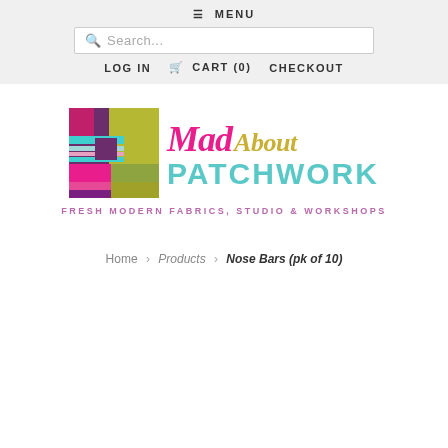≡ MENU
Search...
LOG IN   🛒 CART (0)   CHECKOUT
[Figure (logo): Mad About Patchwork logo with colorful patchwork square graphic and text 'Mad About Patchwork - Fresh Modern Fabrics, Studio & Workshops']
Home > Products > Nose Bars (pk of 10)